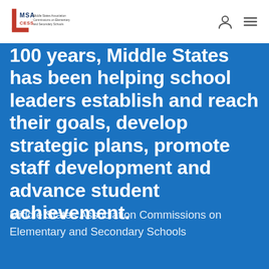MSA CESS — Middle States Association Commissions on Elementary and Secondary Schools
100 years, Middle States has been helping school leaders establish and reach their goals, develop strategic plans, promote staff development and advance student achievement.
Middle States Association Commissions on Elementary and Secondary Schools